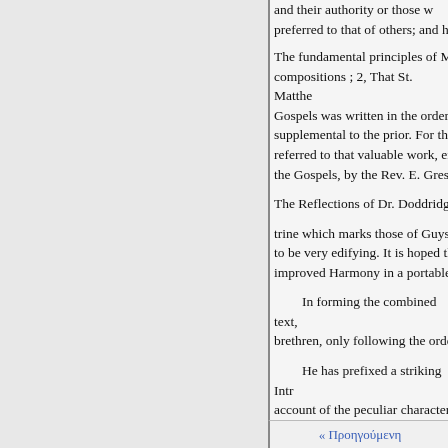and their authority or those who preferred to that of others; and h
The fundamental principles of M compositions ; 2, That St. Matthe Gospels was written in the order supplemental to the prior. For the referred to that valuable work, en the Gospels, by the Rev. E. Gres
The Reflections of Dr. Doddridg
trine which marks those of Guys to be very edifying. It is hoped th improved Harmony in a portable
In forming the combined text, brethren, only following the orde
He has prefixed a striking Intr account of the peculiar character
He will be truly thankful, shou
Watton Rectory,
Oct. 1, 1832.
« Προηγούμενη